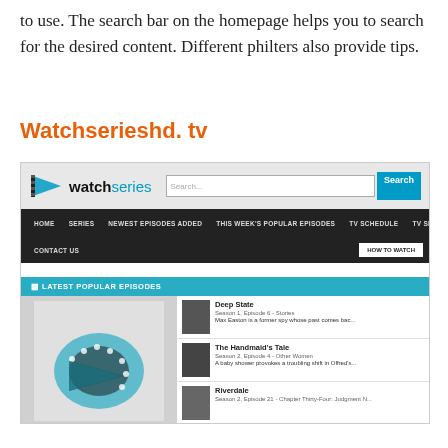to use. The search bar on the homepage helps you to search for the desired content. Different philters also provide tips.
Watchserieshd. tv
[Figure (screenshot): Screenshot of watchseries website showing the homepage with navigation bar (HOME, SERIES, NEWEST EPISODES ADDED, THIS WEEK'S POPULAR EPISODES, TV SCHEDULE, TV SHOWS GENRES, CONTACT US, HOW TO WATCH), a search bar, and a 'LATEST POPULAR EPISODES' section showing Deep State, The Handmaid's Tale, and Riverdale episodes.]